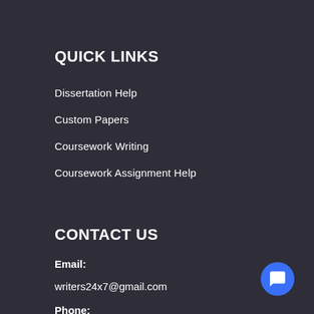QUICK LINKS
Dissertation Help
Custom Papers
Coursework Writing
Coursework Assignment Help
CONTACT US
Email:
writers24x7@gmail.com
Phone: